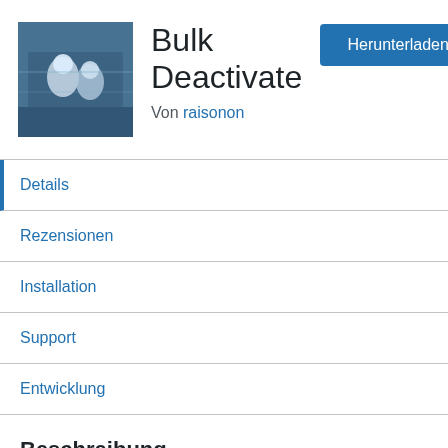[Figure (photo): Plugin icon showing astronauts or space-themed image with blue/dark tones]
Bulk Deactivate
Von raisonon
Herunterladen
Details
Rezensionen
Installation
Support
Entwicklung
Beschreibung
Bulk deactivate and activate WordPress plugins.